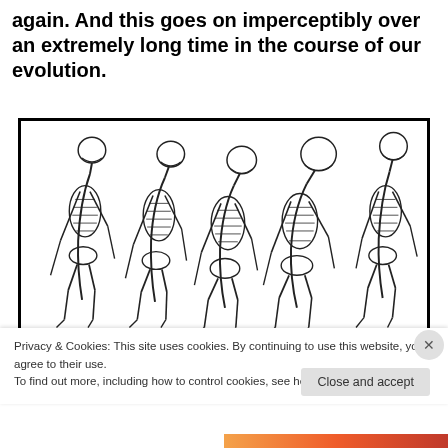again. And this goes on imperceptibly over an extremely long time in the course of our evolution.
[Figure (illustration): Five primate/hominid skeletons shown in profile from left to right, depicting progressively more upright posture representing human evolution — from a more ape-like stooped figure on the left to a more upright posture moving right.]
Privacy & Cookies: This site uses cookies. By continuing to use this website, you agree to their use.
To find out more, including how to control cookies, see here: Cookie Policy